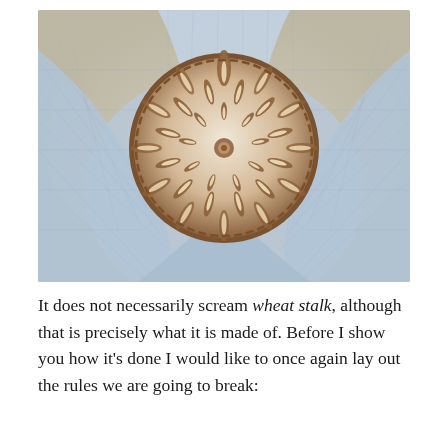[Figure (photo): Overhead photo of a round artisan sourdough bread with an intricate decorative scoring pattern resembling wheat stalks and leaves, arranged in a mandala-like design. The bread is nestled in a light blue mesh/net cloth on a linen background.]
It does not necessarily scream wheat stalk, although that is precisely what it is made of. Before I show you how it's done I would like to once again lay out the rules we are going to break: